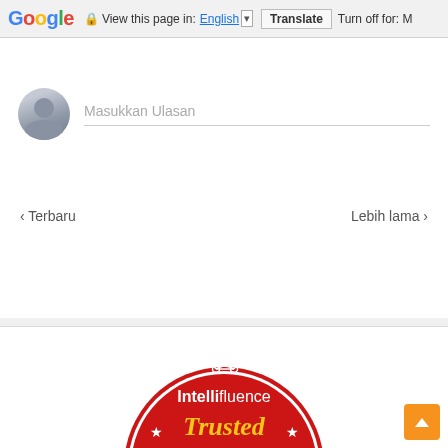[Figure (screenshot): Google Translate toolbar at top of browser with Google logo, lock icon, 'View this page in: English' dropdown, Translate button, and 'Turn off for: M...' text]
Masukkan Ulasan
< Terbaru
Lebih lama >
[Figure (logo): Intellifluence Trusted Influencer badge - red semicircle badge with white network/brain icon, white text 'Intellifluence', yellow cursive text 'Trusted', gold banner with 'INFLUENCER' text, and star decorations]